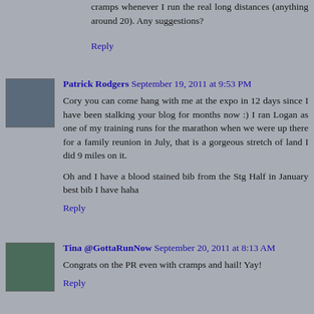cramps whenever I run the real long distances (anything around 20). Any suggestions?
Reply
Patrick Rodgers September 19, 2011 at 9:53 PM
Cory you can come hang with me at the expo in 12 days since I have been stalking your blog for months now :) I ran Logan as one of my training runs for the marathon when we were up there for a family reunion in July, that is a gorgeous stretch of land I did 9 miles on it.

Oh and I have a blood stained bib from the Stg Half in January best bib I have haha
Reply
Tina @GottaRunNow September 20, 2011 at 8:13 AM
Congrats on the PR even with cramps and hail! Yay!
Reply